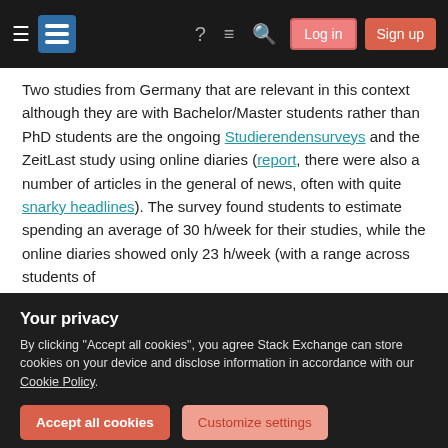Stack Exchange navigation bar with hamburger menu, logo, help, chat, search icons, Log in and Sign up buttons
Two studies from Germany that are relevant in this context although they are with Bachelor/Master students rather than PhD students are the ongoing Studierendensurveys and the ZeitLast study using online diaries (report, there were also a number of articles in the general of news, often with quite snarky headlines). The survey found students to estimate spending an average of 30 h/week for their studies, while the online diaries showed only 23 h/week (with a range across students of
Your privacy
By clicking "Accept all cookies", you agree Stack Exchange can store cookies on your device and disclose information in accordance with our Cookie Policy.
We may say that retrospective estimates such